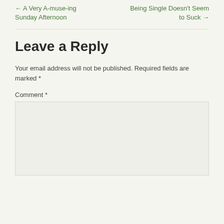← A Very A-muse-ing Sunday Afternoon
Being Single Doesn't Seem to Suck →
Leave a Reply
Your email address will not be published. Required fields are marked *
Comment *